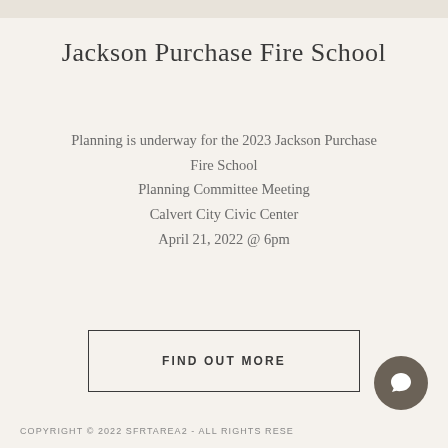Jackson Purchase Fire School
Planning is underway for the 2023 Jackson Purchase Fire School
Planning Committee Meeting
Calvert City Civic Center
April 21, 2022 @ 6pm
FIND OUT MORE
COPYRIGHT © 2022 SFRTAREA2 - ALL RIGHTS RESE...